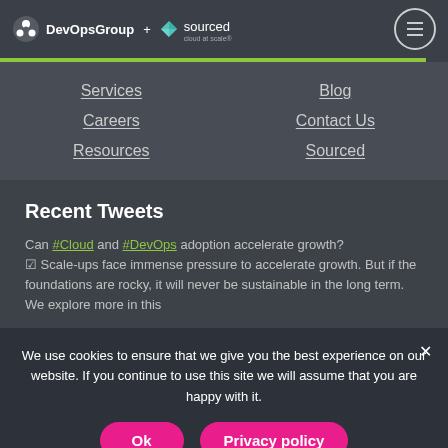DevOpsGroup + sourced cloud at scale
Services
Careers
Resources
Blog
Contact Us
Sourced
Recent Tweets
Can #Cloud and #DevOps adoption accelerate growth? ☑ Scale-ups face immense pressure to accelerate growth. But if the foundations are rocky, it will never be sustainable in the long term. We explore more in this
We use cookies to ensure that we give you the best experience on our website. If you continue to use this site we will assume that you are happy with it.